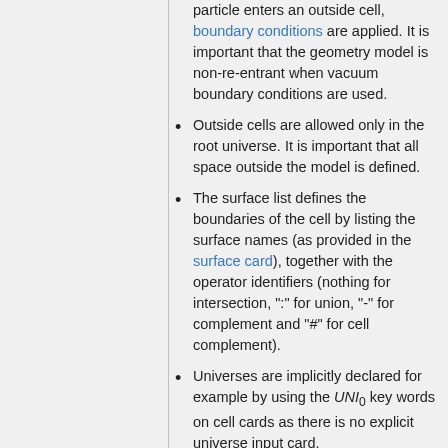particle enters an outside cell, boundary conditions are applied. It is important that the geometry model is non-re-entrant when vacuum boundary conditions are used.
Outside cells are allowed only in the root universe. It is important that all space outside the model is defined.
The surface list defines the boundaries of the cell by listing the surface names (as provided in the surface card), together with the operator identifiers (nothing for intersection, ":" for union, "-" for complement and "#" for cell complement).
Universes are implicitly declared for example by using the UNI_0 key words on cell cards as there is no explicit universe input card.